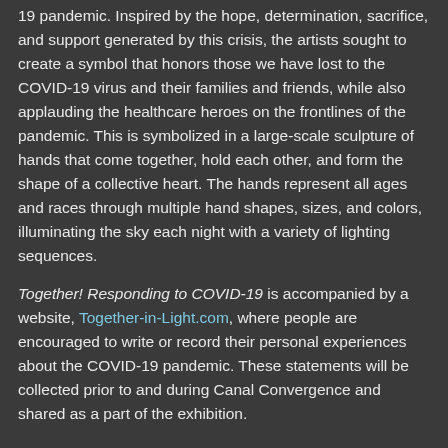19 pandemic. Inspired by the hope, determination, sacrifice, and support generated by this crisis, the artists sought to create a symbol that honors those we have lost to the COVID-19 virus and their families and friends, while also applauding the healthcare heroes on the frontlines of the pandemic. This is symbolized in a large-scale sculpture of hands that come together, hold each other, and form the shape of a collective heart. The hands represent all ages and races through multiple hand shapes, sizes, and colors, illuminating the sky each night with a variety of lighting sequences.
Together! Responding to COVID-19 is accompanied by a website, Together-in-Light.com, where people are encouraged to write or record their personal experiences about the COVID-19 pandemic. These statements will be collected prior to and during Canal Convergence and shared as a part of the exhibition.